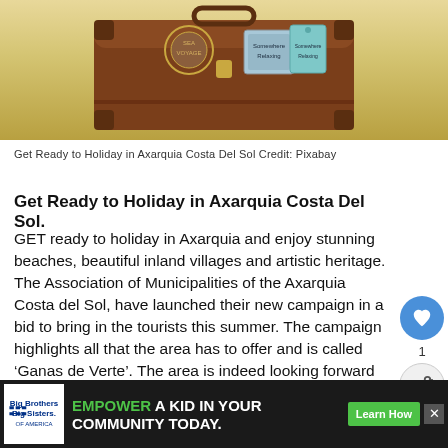[Figure (photo): Brown vintage suitcase with travel stickers against a yellow/sandy gradient background]
Get Ready to Holiday in Axarquia Costa Del Sol Credit: Pixabay
Get Ready to Holiday in Axarquia Costa Del Sol.
GET ready to holiday in Axarquia and enjoy stunning beaches, beautiful inland villages and artistic heritage. The Association of Municipalities of the Axarquia Costa del Sol, have launched their new campaign in a bid to bring in the tourists this summer. The campaign highlights all that the area has to offer and is called ‘Ganas de Verte’. The area is indeed looking forward to seeing you.
The campaign will explore all that the region has to offer
[Figure (other): Advertisement banner: Big Brothers Big Sisters logo on left, green EMPOWER text followed by white A KID IN YOUR COMMUNITY TODAY. text, green Learn How button, and X close button]